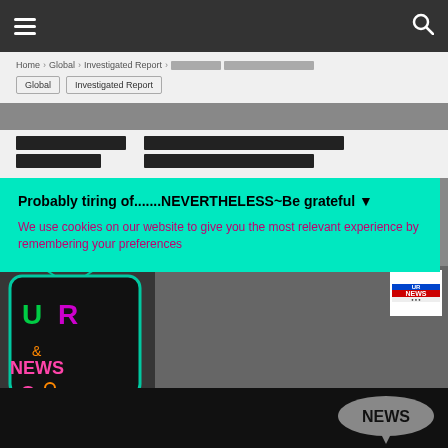Navigation bar with hamburger menu and search icon
Home > Global > Investigated Report > [Thai text] [Thai text]
Global
Investigated Report
[Thai title text - redacted/blocked]
Probably tiring of.......NEVERTHELESS~Be grateful ▼
We use cookies on our website to give you the most relevant experience by remembering your preferences
[Figure (logo): UR NEWS logo on dark background with neon-style TV graphic on the left, NEWS speech bubble on right side banner]